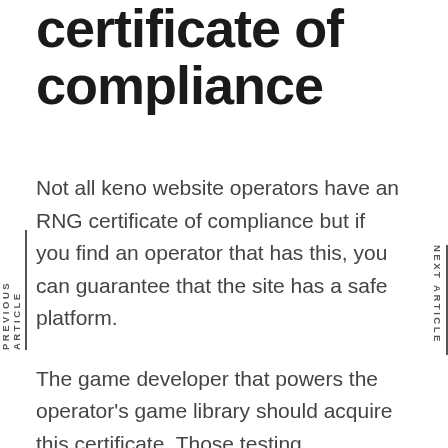certificate of compliance
Not all keno website operators have an RNG certificate of compliance but if you find an operator that has this, you can guarantee that the site has a safe platform.
The game developer that powers the operator's game library should acquire this certificate. Those testing laboratories that issue RNG certificates were accredited by the government or regulators. They secure the fairness of the gaming companies by checking